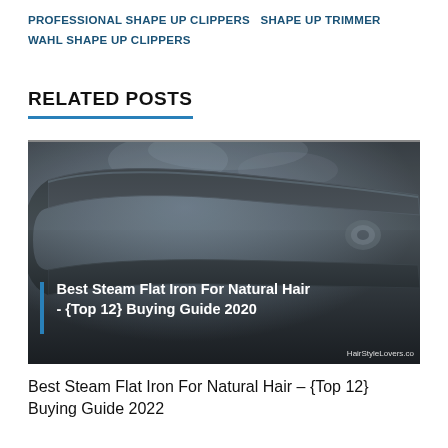PROFESSIONAL SHAPE UP CLIPPERS   SHAPE UP TRIMMER   WAHL SHAPE UP CLIPPERS
RELATED POSTS
[Figure (photo): A close-up photo of a black steam flat iron with steam rising, overlaid with text: 'Best Steam Flat Iron For Natural Hair - {Top 12} Buying Guide 2020' with a blue vertical bar accent and HairStyleLovers.co watermark]
Best Steam Flat Iron For Natural Hair – {Top 12} Buying Guide 2022